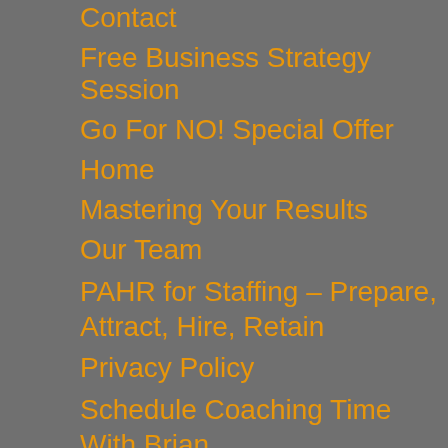Contact
Free Business Strategy Session
Go For NO! Special Offer
Home
Mastering Your Results
Our Team
PAHR for Staffing – Prepare, Attract, Hire, Retain
Privacy Policy
Schedule Coaching Time With Brian
Turnaround Point Book
Virtual Clinic
What We Do